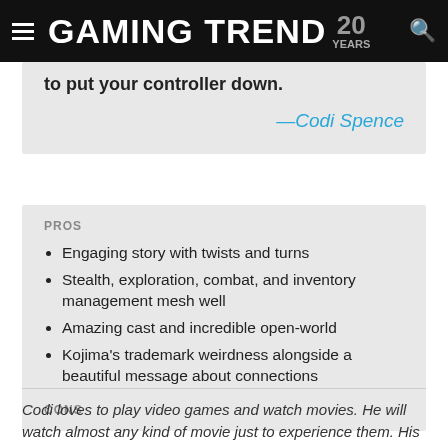GAMING TREND 20 YEARS
to put your controller down.
—Codi Spence
PROS
Engaging story with twists and turns
Stealth, exploration, combat, and inventory management mesh well
Amazing cast and incredible open-world
Kojima's trademark weirdness alongside a beautiful message about connections
CONS
Codi loves to play video games and watch movies. He will watch almost any kind of movie just to experience them. His ideas take inspiration from the shows and movies he